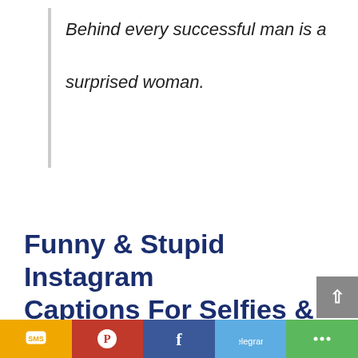Behind every successful man is a surprised woman.
Funny & Stupid Instagram Captions For Selfies & Pics
This set of quotes is for funny and stupid friends we have in our life. You can choose suitable quotes from the list below for posting stupid Instagram captions or funny Instagram captions with friends or family.